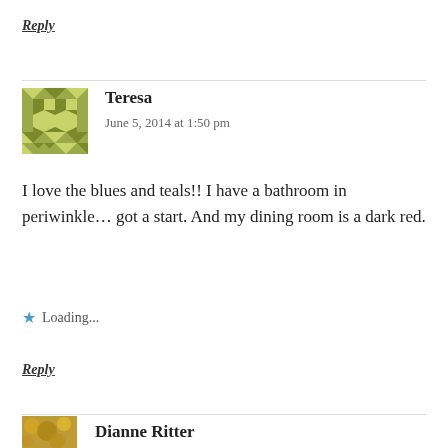Reply
[Figure (illustration): Green geometric avatar for user Teresa]
Teresa
June 5, 2014 at 1:50 pm
I love the blues and teals!! I have a bathroom in periwinkle… got a start. And my dining room is a dark red.
Loading...
Reply
[Figure (photo): Small square photo avatar for user Dianne Ritter, brownish/yellow tones]
Dianne Ritter